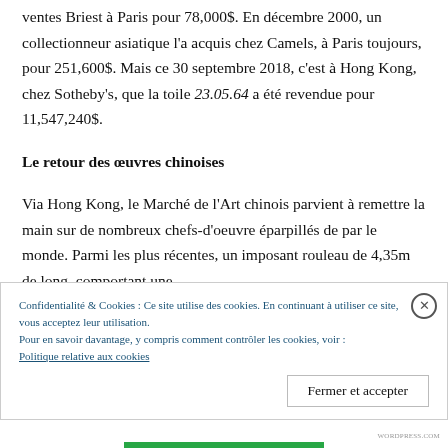ventes Briest à Paris pour 78,000$. En décembre 2000, un collectionneur asiatique l'a acquis chez Camels, à Paris toujours, pour 251,600$. Mais ce 30 septembre 2018, c'est à Hong Kong, chez Sotheby's, que la toile 23.05.64 a été revendue pour 11,547,240$.
Le retour des œuvres chinoises
Via Hong Kong, le Marché de l'Art chinois parvient à remettre la main sur de nombreux chefs-d'oeuvre éparpillés de par le monde. Parmi les plus récentes, un imposant rouleau de 4,35m de long, comportant une
Confidentialité & Cookies : Ce site utilise des cookies. En continuant à utiliser ce site, vous acceptez leur utilisation.
Pour en savoir davantage, y compris comment contrôler les cookies, voir :
Politique relative aux cookies